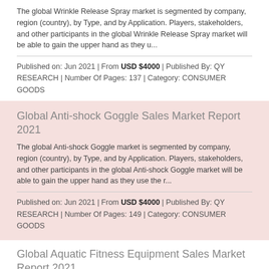The global Wrinkle Release Spray market is segmented by company, region (country), by Type, and by Application. Players, stakeholders, and other participants in the global Wrinkle Release Spray market will be able to gain the upper hand as they u...
Published on: Jun 2021 | From USD $4000 | Published By: QY RESEARCH | Number Of Pages: 137 | Category: CONSUMER GOODS
Global Anti-shock Goggle Sales Market Report 2021
The global Anti-shock Goggle market is segmented by company, region (country), by Type, and by Application. Players, stakeholders, and other participants in the global Anti-shock Goggle market will be able to gain the upper hand as they use the r...
Published on: Jun 2021 | From USD $4000 | Published By: QY RESEARCH | Number Of Pages: 149 | Category: CONSUMER GOODS
Global Aquatic Fitness Equipment Sales Market Report 2021
The global Aquatic Fitness Equipment market is segmented by company, region (country), by Type, and by Application. Players, stakeholders, and other participants in the global Aquatic Fitness Equipment market will be able to gain the upper hand as they...